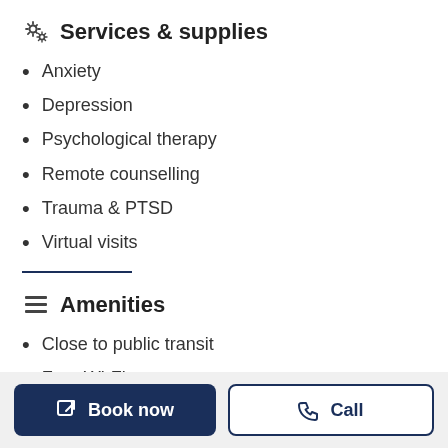Services & supplies
Anxiety
Depression
Psychological therapy
Remote counselling
Trauma & PTSD
Virtual visits
Amenities
Close to public transit
Free Wi-Fi
Book now
Call